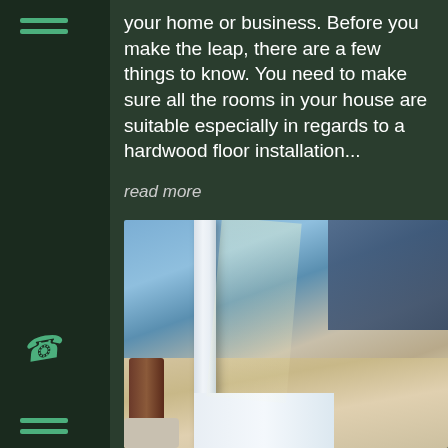your home or business. Before you make the leap, there are a few things to know. You need to make sure all the rooms in your house are suitable especially in regards to a hardwood floor installation...
read more
[Figure (photo): Close-up photo of a hardwood floor installation showing a white door frame/baseboard meeting a wood floor, with blue wall paint visible and a dark blue carpet/rug in the upper right corner. A dark wood chair leg is visible on the left side.]